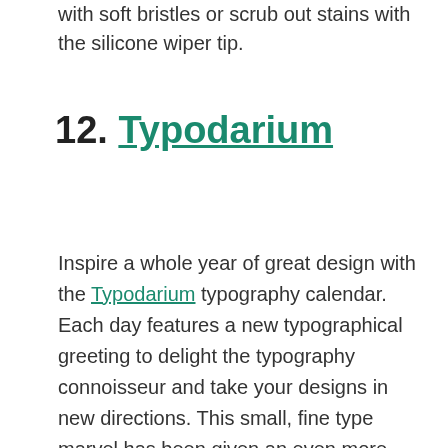with soft bristles or scrub out stains with the silicone wiper tip.
12. Typodarium
Inspire a whole year of great design with the Typodarium typography calendar. Each day features a new typographical greeting to delight the typography connoisseur and take your designs in new directions. This small, fine type marvel has been given an even more elegant box this year and – more importantly –